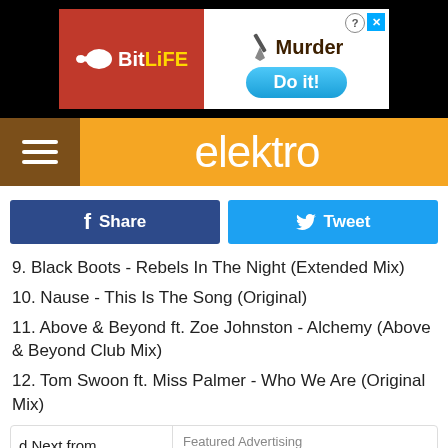[Figure (screenshot): BitLife advertisement banner at top of page]
elektro
Share  Tweet
9. Black Boots - Rebels In The Night (Extended Mix)
10. Nause - This Is The Song (Original)
11. Above & Beyond ft. Zoe Johnston - Alchemy (Above & Beyond Club Mix)
12. Tom Swoon ft. Miss Palmer - Who We Are (Original Mix)
d Next from
tro Daily
Featured Advertising
[Figure (screenshot): BitLife NOW WITH GOD MODE advertisement banner at bottom]